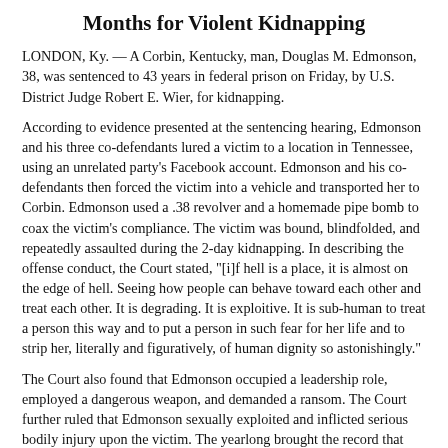Months for Violent Kidnapping
LONDON, Ky. — A Corbin, Kentucky, man, Douglas M. Edmonson, 38, was sentenced to 43 years in federal prison on Friday, by U.S. District Judge Robert E. Wier, for kidnapping.
According to evidence presented at the sentencing hearing, Edmonson and his three co-defendants lured a victim to a location in Tennessee, using an unrelated party's Facebook account. Edmonson and his co-defendants then forced the victim into a vehicle and transported her to Corbin. Edmonson used a .38 revolver and a homemade pipe bomb to coax the victim's compliance. The victim was bound, blindfolded, and repeatedly assaulted during the 2-day kidnapping. In describing the offense conduct, the Court stated, "[i]f hell is a place, it is almost on the edge of hell. Seeing how people can behave toward each other and treat each other. It is degrading. It is exploitive. It is sub-human to treat a person this way and to put a person in such fear for her life and to strip her, literally and figuratively, of human dignity so astonishingly."
The Court also found that Edmonson occupied a leadership role, employed a dangerous weapon, and demanded a ransom. The Court further ruled that Edmonson sexually exploited and inflicted serious bodily injury upon the victim. The yearlong brought the record that Edmonson and his co-defendants